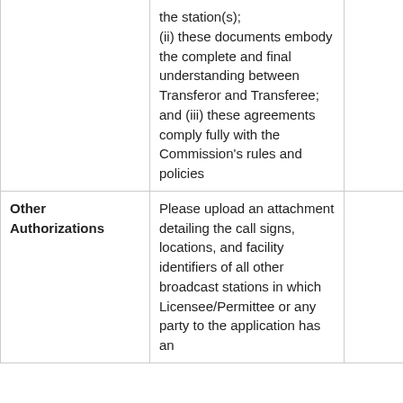|  |  |  |
| --- | --- | --- |
|  | the station(s);
(ii) these documents embody the complete and final understanding between Transferor and Transferee; and
(iii) these agreements comply fully with the Commission's rules and policies |  |
| Other Authorizations | Please upload an attachment detailing the call signs, locations, and facility identifiers of all other broadcast stations in which Licensee/Permittee or any party to the application has an |  |